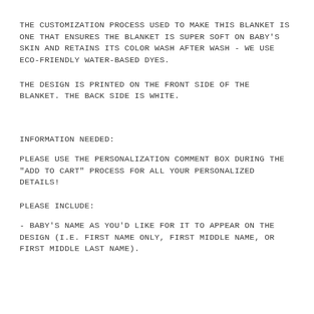THE CUSTOMIZATION PROCESS USED TO MAKE THIS BLANKET IS ONE THAT ENSURES THE BLANKET IS SUPER SOFT ON BABY'S SKIN AND RETAINS ITS COLOR WASH AFTER WASH - WE USE ECO-FRIENDLY WATER-BASED DYES.
THE DESIGN IS PRINTED ON THE FRONT SIDE OF THE BLANKET. THE BACK SIDE IS WHITE.
INFORMATION NEEDED:
PLEASE USE THE PERSONALIZATION COMMENT BOX DURING THE "ADD TO CART" PROCESS FOR ALL YOUR PERSONALIZED DETAILS!
PLEASE INCLUDE:
- BABY'S NAME AS YOU'D LIKE FOR IT TO APPEAR ON THE DESIGN (I.E. FIRST NAME ONLY, FIRST MIDDLE NAME, OR FIRST MIDDLE LAST NAME).